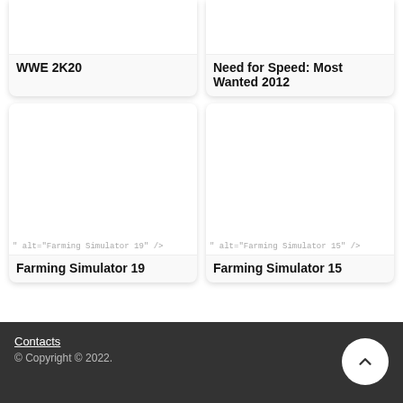[Figure (screenshot): Partial card showing WWE 2K20 game image (top cut off)]
WWE 2K20
[Figure (screenshot): Partial card showing Need for Speed: Most Wanted 2012 game image (top cut off)]
Need for Speed: Most Wanted 2012
[Figure (screenshot): Card showing Farming Simulator 19 game image with alt text: " alt="Farming Simulator 19" />]
Farming Simulator 19
[Figure (screenshot): Card showing Farming Simulator 15 game image with alt text: " alt="Farming Simulator 15" />]
Farming Simulator 15
Contacts
© Copyright © 2022.